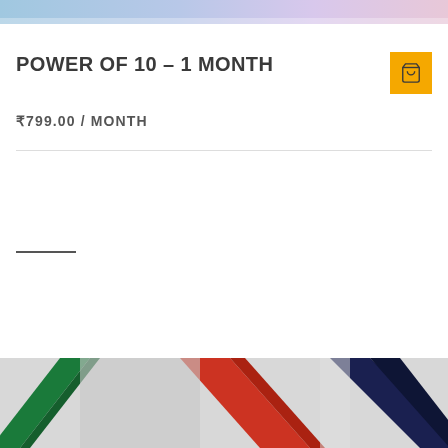[Figure (photo): Top partial photo showing hands or person, light blue/purple tones]
POWER OF 10 – 1 MONTH
₹799.00 / MONTH
[Figure (photo): Bottom partial photo showing colored resistance bands - green, red/orange, dark navy]